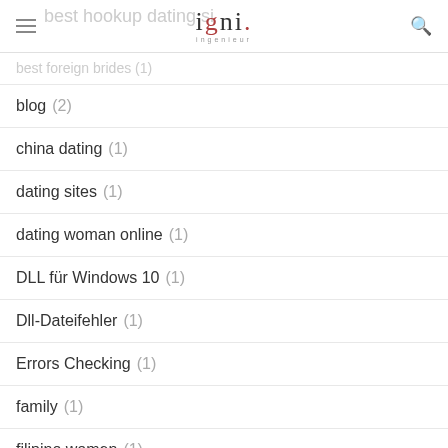igni
best foreign brides (1)
blog (2)
china dating (1)
dating sites (1)
dating woman online (1)
DLL für Windows 10 (1)
Dll-Dateifehler (1)
Errors Checking (1)
family (1)
filipino women (1)
Hookup Guide (1)